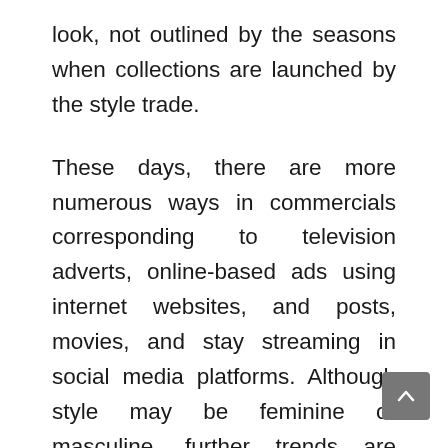look, not outlined by the seasons when collections are launched by the style trade.
These days, there are more numerous ways in commercials corresponding to television adverts, online-based ads using internet websites, and posts, movies, and stay streaming in social media platforms. Although style may be feminine or masculine, further trends are androgynous. The concept of unisex dressing originated in the Sixties when designers corresponding to Pierre Cardin and Rudi Gernreich created garments, corresponding to stretch jersey tunics or leggings, meant to be worn by each man and